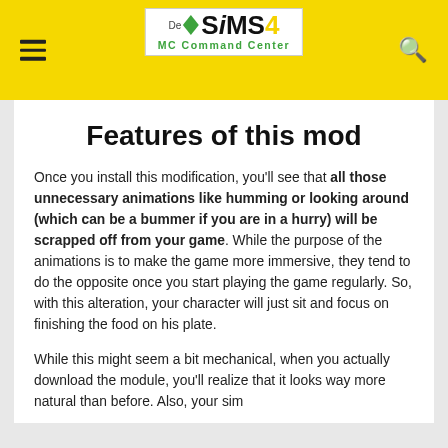De Sims 4 MC Command Center
Features of this mod
Once you install this modification, you'll see that all those unnecessary animations like humming or looking around (which can be a bummer if you are in a hurry) will be scrapped off from your game. While the purpose of the animations is to make the game more immersive, they tend to do the opposite once you start playing the game regularly. So, with this alteration, your character will just sit and focus on finishing the food on his plate.
While this might seem a bit mechanical, when you actually download the module, you'll realize that it looks way more natural than before. Also, your sim...